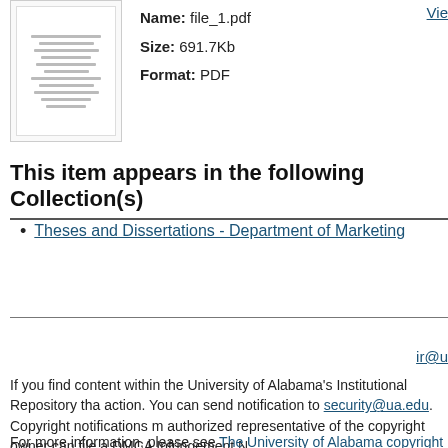[Figure (other): Thumbnail preview of file_1.pdf document]
Name: file_1.pdf
Size: 691.7Kb
Format: PDF
This item appears in the following Collection(s)
Theses and Dissertations - Department of Marketing
ir@u
If you find content within the University of Alabama's Institutional Repository tha action. You can send notification to security@ua.edu. Copyright notifications m authorized representative of the copyright owner can file a DMCA Infringement N
For more information, please see The University of Alabama copyright statemen